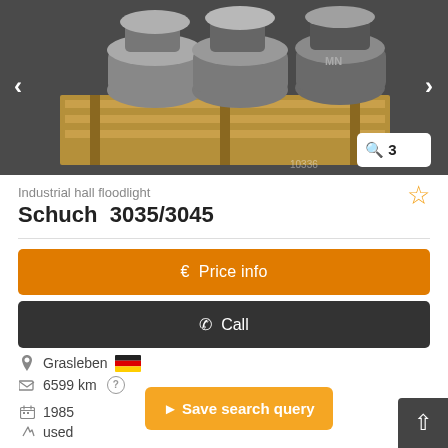[Figure (photo): Industrial hall floodlights (Schuch 3035/3045) placed on a wooden pallet, grey metal lamps, photographed from above/side]
Industrial hall floodlight
Schuch  3035/3045
€ Price info
✆ Call
Grasleben 🇩🇪
6599 km
1985
used
Save search query